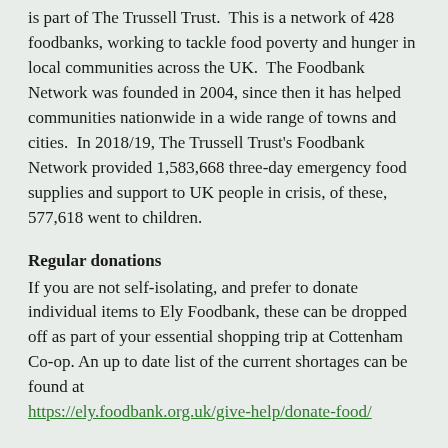is part of The Trussell Trust.  This is a network of 428 foodbanks, working to tackle food poverty and hunger in local communities across the UK.  The Foodbank Network was founded in 2004, since then it has helped communities nationwide in a wide range of towns and cities.  In 2018/19, The Trussell Trust's Foodbank Network provided 1,583,668 three-day emergency food supplies and support to UK people in crisis, of these, 577,618 went to children.
Regular donations
If you are not self-isolating, and prefer to donate individual items to Ely Foodbank, these can be dropped off as part of your essential shopping trip at Cottenham Co-op. An up to date list of the current shortages can be found at https://ely.foodbank.org.uk/give-help/donate-food/
FaceBook
You can keep up to date with news, as well as donate money, by following Ely Foodbank on FaceBook: